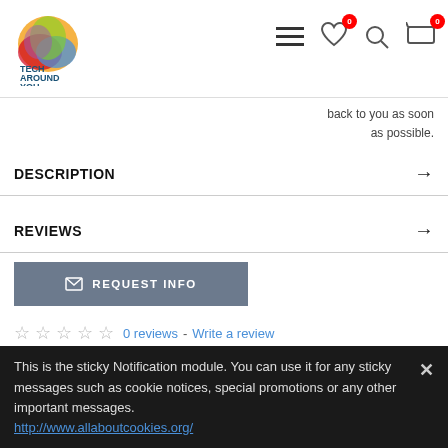[Figure (logo): TechAroundYou logo with colorful circular swirl and blue text]
back to you as soon as possible.
DESCRIPTION
REVIEWS
[Figure (other): REQUEST INFO button with envelope icon]
☆ ☆ ☆ ☆ ☆  0 reviews - Write a review
Products Sold: 31   Product Views: 2380
> Availability: In Stock
This is the sticky Notification module. You can use it for any sticky messages such as cookie notices, special promotions or any other important messages.
http://www.allaboutcookies.org/